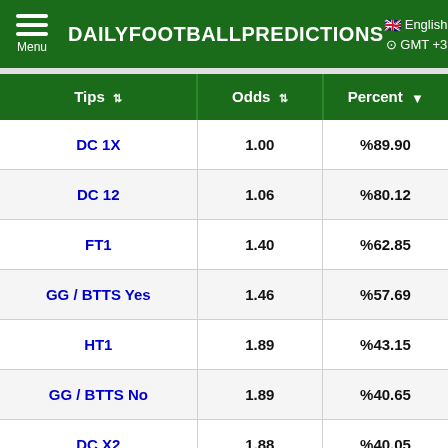DAILYFOOTBALLPREDICTIONS — Menu | English | GMT +3
| Tips | Odds | Percent |
| --- | --- | --- |
| DC 1X | 1.00 | %89.90 |
| DC 12 | 1.06 | %80.12 |
| FT1 | 1.40 | %62.85 |
| GG / BTTS Yes | 1.46 | %57.69 |
| HT1 | 1.89 | %43.15 |
| GG / BTTS No | 1.89 | %40.65 |
| DC X2 | 1.88 | %40.05 |
| HTX | 2.14 | %34.14 |